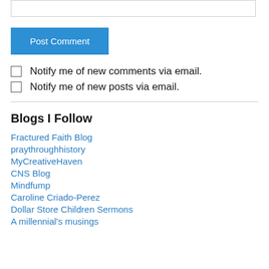[Figure (screenshot): Text input box (comment form field)]
Post Comment
Notify me of new comments via email.
Notify me of new posts via email.
Blogs I Follow
Fractured Faith Blog
praythroughhistory
MyCreativeHaven
CNS Blog
Mindfump
Caroline Criado-Perez
Dollar Store Children Sermons
A millennial's musings